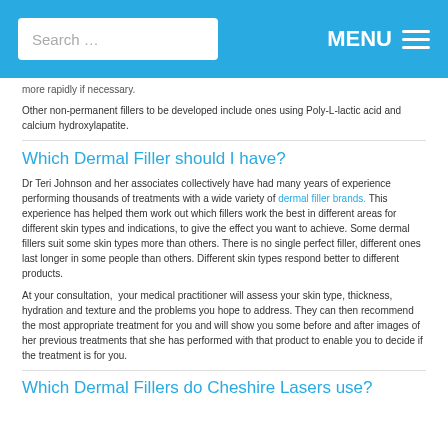Search … MENU
more rapidly if necessary.
Other non-permanent fillers to be developed include ones using Poly-L-lactic acid and calcium hydroxylapatite.
Which Dermal Filler should I have?
Dr Teri Johnson and her associates collectively have had many years of experience performing thousands of treatments with a wide variety of dermal filler brands. This experience has helped them work out which fillers work the best in different areas for different skin types and indications, to give the effect you want to achieve. Some dermal fillers suit some skin types more than others. There is no single perfect filler, different ones last longer in some people than others. Different skin types respond better to different products.
At your consultation, your medical practitioner will assess your skin type, thickness, hydration and texture and the problems you hope to address. They can then recommend the most appropriate treatment for you and will show you some before and after images of her previous treatments that she has performed with that product to enable you to decide if the treatment is for you.
Which Dermal Fillers do Cheshire Lasers use?